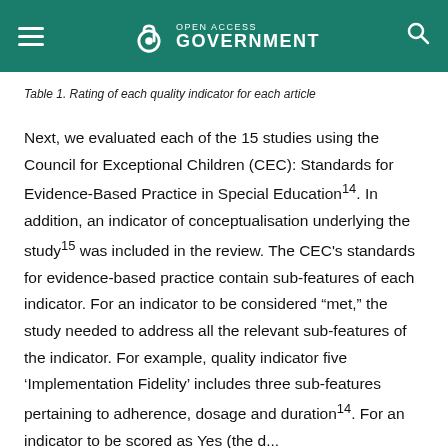Open Access Government
Table 1. Rating of each quality indicator for each article
Next, we evaluated each of the 15 studies using the Council for Exceptional Children (CEC): Standards for Evidence-Based Practice in Special Education¹⁴. In addition, an indicator of conceptualisation underlying the study¹⁵ was included in the review. The CEC’s standards for evidence-based practice contain sub-features of each indicator. For an indicator to be considered “met,” the study needed to address all the relevant sub-features of the indicator. For example, quality indicator five ‘Implementation Fidelity’ includes three sub-features pertaining to adherence, dosage and duration¹⁴. For an indicator to be scored as Yes (the d...